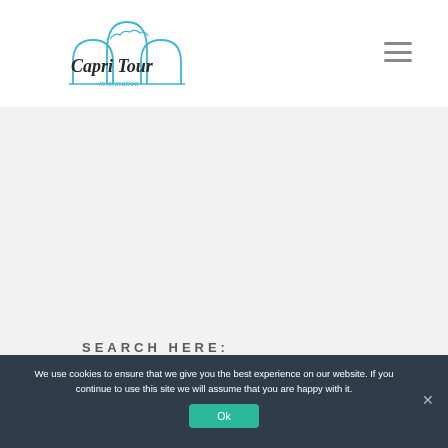[Figure (logo): Capri Tour Information logo — stylized arch/rock silhouette in light blue with script text 'Capri Tour' and smaller 'information' beneath]
SEARCH HERE:
We use cookies to ensure that we give you the best experience on our website. If you continue to use this site we will assume that you are happy with it.
Ok